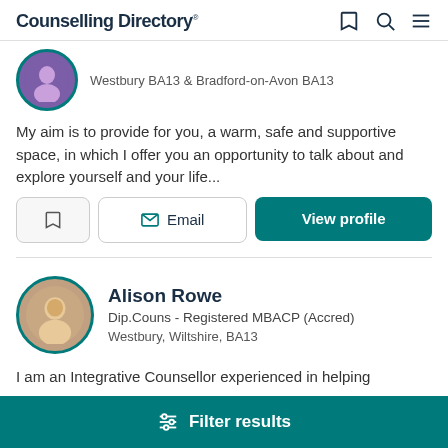Counselling Directory
Westbury BA13 & Bradford-on-Avon BA13
My aim is to provide for you, a warm, safe and supportive space, in which I offer you an opportunity to talk about and explore yourself and your life...
Alison Rowe
Dip.Couns - Registered MBACP (Accred)
Westbury, Wiltshire, BA13
I am an Integrative Counsellor experienced in helping